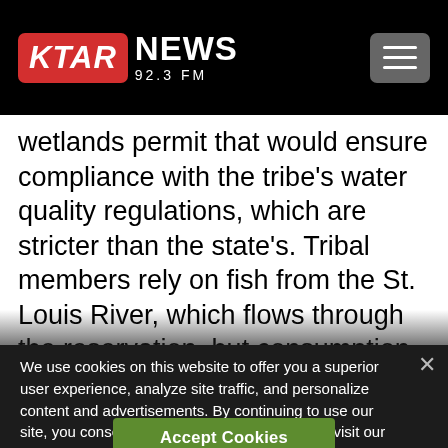KTAR NEWS 92.3 FM
wetlands permit that would ensure compliance with the tribe’s water quality regulations, which are stricter than the state’s. Tribal members rely on fish from the St. Louis River, which flows through the reservation, but consumption advisories limit the number of fish that can be safely eaten
We use cookies on this website to offer you a superior user experience, analyze site traffic, and personalize content and advertisements. By continuing to use our site, you consent to our use of cookies. Please visit our Privacy Policy for more information.
Accept Cookies